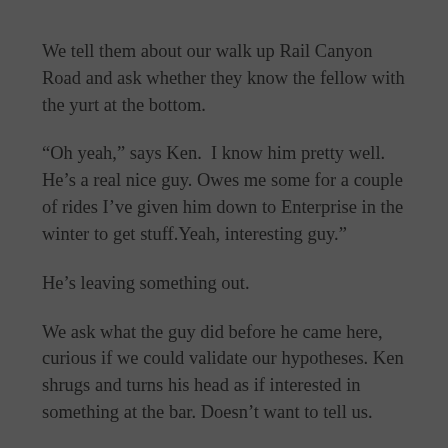We tell them about our walk up Rail Canyon Road and ask whether they know the fellow with the yurt at the bottom.
“Oh yeah,” says Ken.  I know him pretty well. He’s a real nice guy. Owes me some for a couple of rides I’ve given him down to Enterprise in the winter to get stuff.Yeah, interesting guy.”
He’s leaving something out.
We ask what the guy did before he came here, curious if we could validate our hypotheses. Ken shrugs and turns his head as if interested in something at the bar. Doesn’t want to tell us.
The thought of Rail Road spurs Pat to question where it